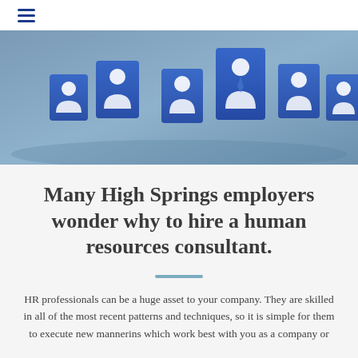≡
[Figure (photo): Blue semi-transparent cube blocks with white person/avatar icons arranged on a light blue-gray surface, representing people or workforce resources.]
Many High Springs employers wonder why to hire a human resources consultant.
HR professionals can be a huge asset to your company. They are skilled in all of the most recent patterns and techniques, so it is simple for them to execute new mannerins which work best with you as a company or